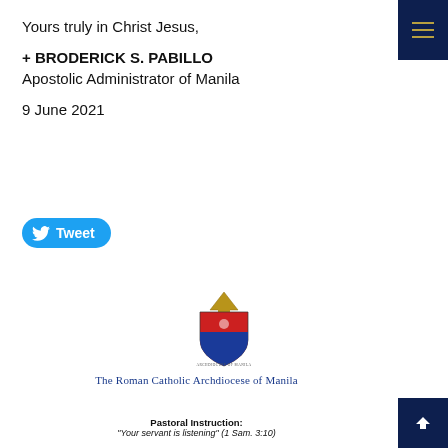Yours truly in Christ Jesus,
+ BRODERICK S. PABILLO
Apostolic Administrator of Manila
9 June 2021
[Figure (other): Twitter Tweet button (blue rounded rectangle with bird icon and 'Tweet' text)]
[Figure (logo): Coat of arms / seal of the Roman Catholic Archdiocese of Manila — shield with red upper half and blue lower half, gold mitre/bishop's hat on top, text around base]
The Roman Catholic Archdiocese of Manila
Pastoral Instruction:
“Your servant is listening” (1 Sam. 3:10)